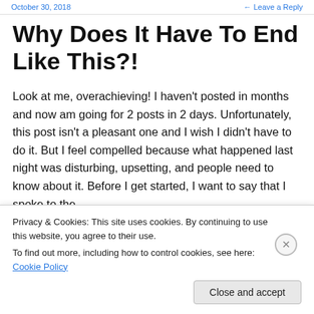October 30, 2018   ← Leave a Reply
Why Does It Have To End Like This?!
Look at me, overachieving! I haven't posted in months and now am going for 2 posts in 2 days. Unfortunately, this post isn't a pleasant one and I wish I didn't have to do it. But I feel compelled because what happened last night was disturbing, upsetting, and people need to know about it. Before I get started, I want to say that I spoke to the
Privacy & Cookies: This site uses cookies. By continuing to use this website, you agree to their use.
To find out more, including how to control cookies, see here: Cookie Policy
Close and accept